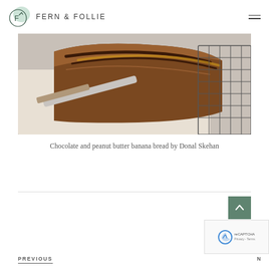FERN & FOLLIE
[Figure (photo): Close-up photo of chocolate and peanut butter banana bread on parchment paper with a knife beside it and a wire cooling rack in the background]
Chocolate and peanut butter banana bread by Donal Skehan
PREVIOUS
N